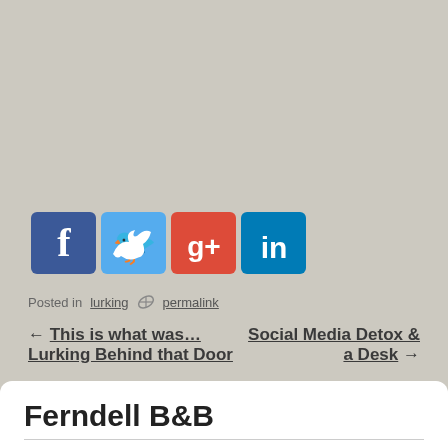[Figure (infographic): Social media sharing icons: Facebook (blue), Twitter (light blue), Google+ (red), LinkedIn (dark blue/teal)]
Posted in lurking  🏉  permalink
← This is what was… Lurking Behind that Door
Social Media Detox & a Desk →
Ferndell B&B
[Figure (photo): Partial photo preview showing what appears to be old bottles or decorative items on a shelf, in sepia/warm tones]